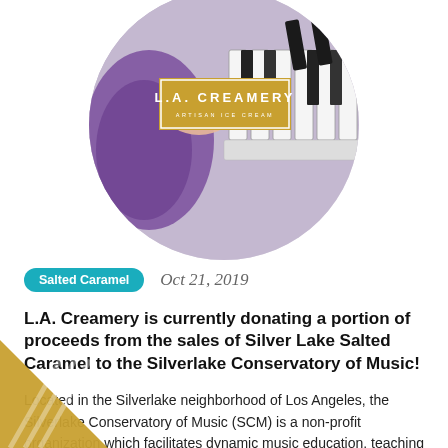[Figure (photo): Circular cropped photo showing hands playing piano keys, with a person wearing a purple knit wrist warmer. A yellow L.A. Creamery logo box is overlaid in the center of the circle.]
Salted Caramel
Oct 21, 2019
L.A. Creamery is currently donating a portion of proceeds from the sales of Silver Lake Salted Caramel to the Silverlake Conservatory of Music!
Located in the Silverlake neighborhood of Los Angeles, the Silverlake Conservatory of Music (SCM) is a non-profit organization which facilitates dynamic music education, teaching both beginning and accomplished